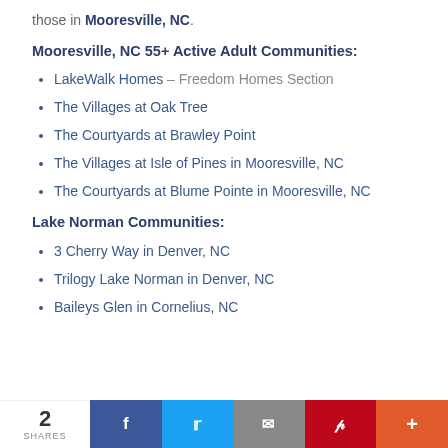those in Mooresville, NC.
Mooresville, NC 55+ Active Adult Communities:
LakeWalk Homes – Freedom Homes Section
The Villages at Oak Tree
The Courtyards at Brawley Point
The Villages at Isle of Pines in Mooresville, NC
The Courtyards at Blume Pointe in Mooresville, NC
Lake Norman Communities:
3 Cherry Way in Denver, NC
Trilogy Lake Norman in Denver, NC
Baileys Glen in Cornelius, NC
2 SHARES | Facebook | Twitter | Email | Pinterest | More